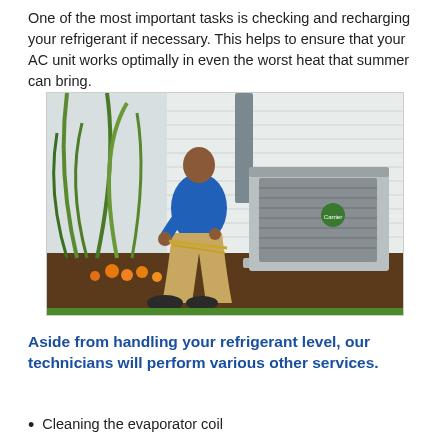One of the most important tasks is checking and recharging your refrigerant if necessary. This helps to ensure that your AC unit works optimally in even the worst heat that summer can bring.
[Figure (photo): A technician in a blue shirt kneeling beside an outdoor AC unit (Carrier brand), working on refrigerant lines. There are ornamental grasses and orange flowers in the foreground, with a white-sided house in the background.]
Aside from handling your refrigerant level, our technicians will perform various other services.
Cleaning the evaporator coil